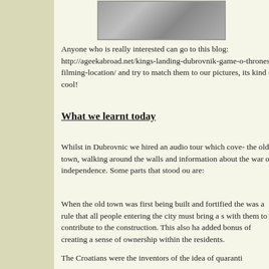[Figure (photo): Stone wall texture photo, top portion visible]
Anyone who is really interested can go to this blog: http://ageekabroad.net/kings-landing-dubrovnik-game-o-thrones-filming-location/ and try to match them to our pictures, its kind of cool!
What we learnt today
Whilst in Dubrovnic we hired an audio tour which cove- the old town, walking around the walls and information about the war of independence. Some parts that stood ou are:
When the old town was first being built and fortified the was a rule that all people entering the city must bring a s with them to contribute to the construction. This also ha added bonus of creating a sense of ownership within the residents.
The Croatians were the inventors of the idea of quaranti